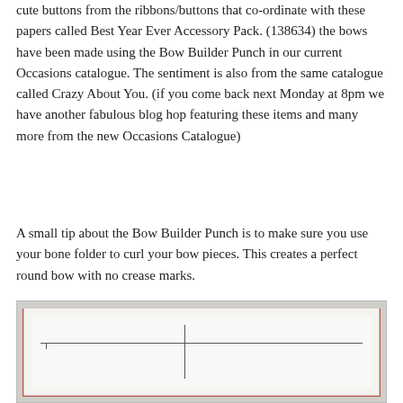cute buttons from the ribbons/buttons that co-ordinate with these papers called Best Year Ever Accessory Pack. (138634) the bows have been made using the Bow Builder Punch in our current Occasions catalogue. The sentiment is also from the same catalogue called Crazy About You. (if you come back next Monday at 8pm we have another fabulous blog hop featuring these items and many more from the new Occasions Catalogue)
A small tip about the Bow Builder Punch is to make sure you use your bone folder to curl your bow pieces. This creates a perfect round bow with no crease marks.
[Figure (photo): Photo of a layered greeting card with a coral/salmon patterned border layer and a white textured layer on top, shown with measuring lines/guides]